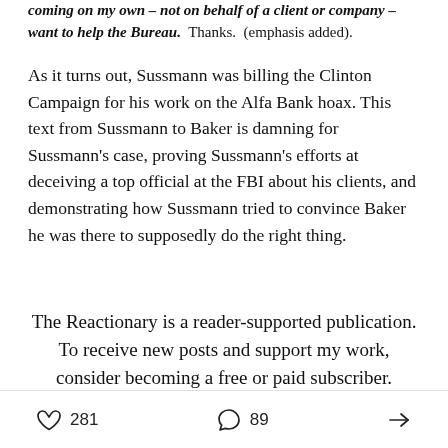coming on my own – not on behalf of a client or company – want to help the Bureau. Thanks. (emphasis added).
As it turns out, Sussmann was billing the Clinton Campaign for his work on the Alfa Bank hoax. This text from Sussmann to Baker is damning for Sussmann's case, proving Sussmann's efforts at deceiving a top official at the FBI about his clients, and demonstrating how Sussmann tried to convince Baker he was there to supposedly do the right thing.
The Reactionary is a reader-supported publication. To receive new posts and support my work, consider becoming a free or paid subscriber.
281  89